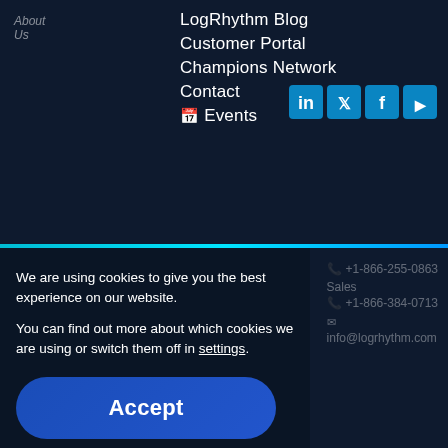...About Us
LogRhythm Blog
Customer Portal
Champions Network
Contact
Events
We are using cookies to give you the best experience on our website.
You can find out more about which cookies we are using or switch them off in settings.
Accept
+1-866-255-0863
Sales
+1-866-384-0713
info@logrhythm.com